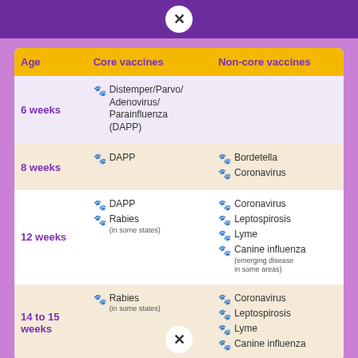| Age | Core vaccines | Non-core vaccines |
| --- | --- | --- |
| 6 weeks | Distemper/Parvo/Adenovirus/Parainfluenza (DAPP) |  |
| 8 weeks | DAPP | Bordetella
Coronavirus |
| 12 weeks | DAPP
Rabies (in some states) | Coronavirus
Leptospirosis
Lyme
Canine influenza (emerging disease in some areas) |
| 14 to 15 weeks | Rabies (in some states) | Coronavirus
Leptospirosis
Lyme
Canine influenza |